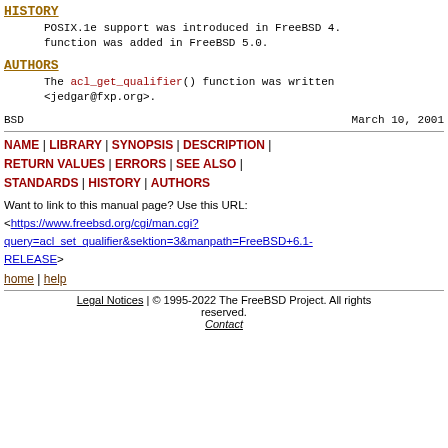HISTORY
POSIX.1e support was introduced in FreeBSD 4. function was added in FreeBSD 5.0.
AUTHORS
The acl_get_qualifier() function was written <jedgar@fxp.org>.
BSD                                          March 10, 2001
NAME | LIBRARY | SYNOPSIS | DESCRIPTION | RETURN VALUES | ERRORS | SEE ALSO | STANDARDS | HISTORY | AUTHORS
Want to link to this manual page? Use this URL: <https://www.freebsd.org/cgi/man.cgi?query=acl_set_qualifier&sektion=3&manpath=FreeBSD+6.1-RELEASE>
home | help
Legal Notices | © 1995-2022 The FreeBSD Project. All rights reserved. Contact